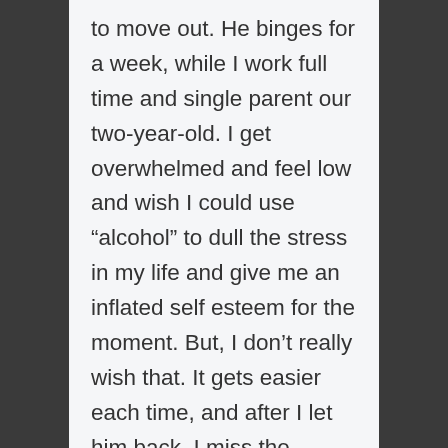to move out. He binges for a week, while I work full time and single parent our two-year-old. I get overwhelmed and feel low and wish I could use “alcohol” to dull the stress in my life and give me an inflated self esteem for the moment. But, I don’t really wish that. It gets easier each time, and after I let him back, I miss the peace and predictability that life offers versus the chaos or near-chaos of the other. I too check my phone. I get a panic attack once he starts calling, but if he doesn’t I feel forgotten and unimportant. Sometimes I think of it like my